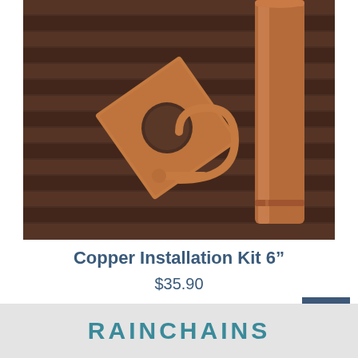[Figure (photo): Product photo showing copper installation kit components: a copper cylinder/pipe, a copper square plate with a circular hole, and a copper hook/clip, all arranged on a dark wood slatted surface.]
Copper Installation Kit 6"
$35.90
RAINCHAINS